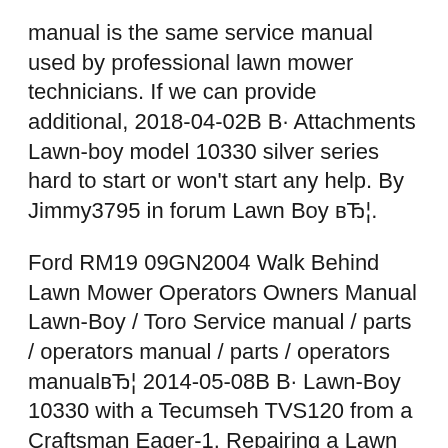manual is the same service manual used by professional lawn mower technicians. If we can provide additional, 2018-04-02В В· Attachments Lawn-boy model 10330 silver series hard to start or won't start any help. By Jimmy3795 in forum Lawn Boy вЂ¦.
Ford RM19 09GN2004 Walk Behind Lawn Mower Operators Owners Manual Lawn-Boy / Toro Service manual / parts / operators manual / parts / operators manualвЂ¦ 2014-05-08В В· Lawn-Boy 10330 with a Tecumseh TVS120 from a Craftsman Eager-1. Repairing a Lawn Boy self propel model # 10684 - Duration: Lawn Mower Repair pt.1: